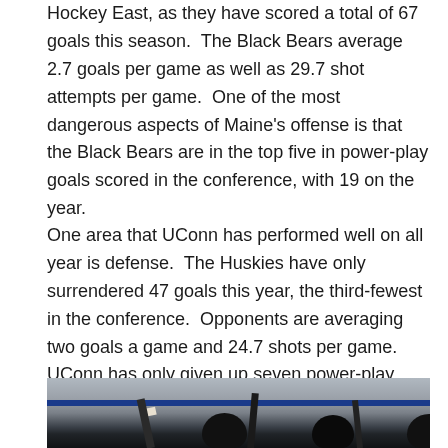Hockey East, as they have scored a total of 67 goals this season.  The Black Bears average 2.7 goals per game as well as 29.7 shot attempts per game.  One of the most dangerous aspects of Maine's offense is that the Black Bears are in the top five in power-play goals scored in the conference, with 19 on the year.
One area that UConn has performed well on all year is defense.  The Huskies have only surrendered 47 goals this year, the third-fewest in the conference.  Opponents are averaging two goals a game and 24.7 shots per game.  UConn has only given up seven power-play goals on the season.
[Figure (photo): Hockey players on ice with sticks raised, viewed from behind the bench or boards, showing helmets and hockey sticks against a rink background with blue boards visible.]